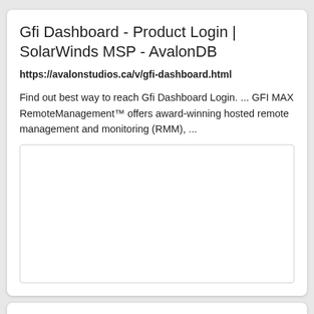Gfi Dashboard - Product Login | SolarWinds MSP - AvalonDB
https://avalonstudios.ca/v/gfi-dashboard.html
Find out best way to reach Gfi Dashboard Login. ... GFI MAX RemoteManagement™ offers award-winning hosted remote management and monitoring (RMM), ...
[Figure (other): Empty white box placeholder area within the card]
[Figure (other): Second card/panel partially visible at bottom of page]